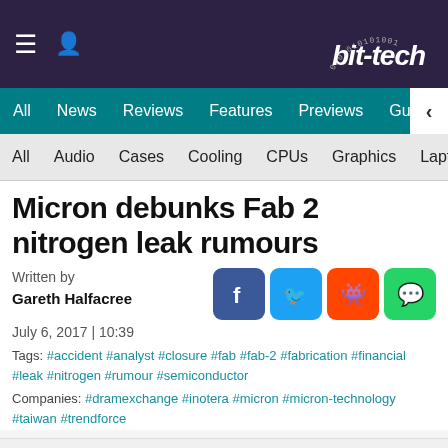bit-tech
All | News | Reviews | Features | Previews | Guides | B...
All | Audio | Cases | Cooling | CPUs | Graphics | Laptops | M...
Micron debunks Fab 2 nitrogen leak rumours
Written by
Gareth Halfacree
July 6, 2017 | 10:39
Tags: #accident #analyst #closure #fab #fab-2 #fabrication #financial #leak #nitrogen #rumour #semiconductor
Companies: #dramexchange #inotera #micron #micron-technology #taiwan #trendforce
In line with recent changes to data protection legislation in the UK and Europe we would like to direct you to our updated Privacy Policy here.
Dismiss